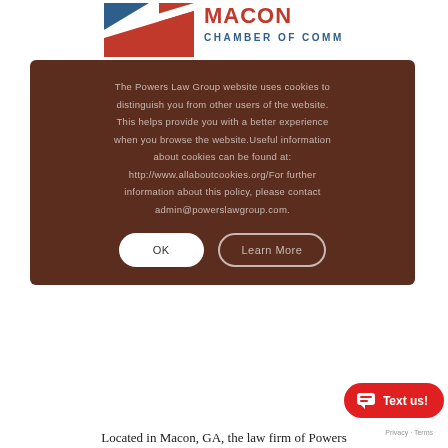[Figure (logo): Macon Chamber of Commerce logo with flag design (red, white, blue diagonal stripes and squares) and teal/red 'MACON CHAMBER OF COMMERCE' text]
The Powers Law Group website uses cookies to distinguish you from other users of the website. This helps provide you with a better experience when you browse the website.Useful information about cookies can be found at: http://www.allaboutcookies.org/For further information about this policy, please contact admin@powerslawgroup.com.
Located in Macon, GA, the law firm of Powers